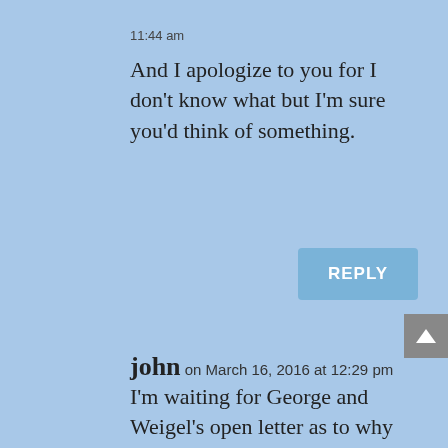11:44 am
And I apologize to you for I don't know what but I'm sure you'd think of something.
[Figure (other): REPLY button]
john on March 16, 2016 at 12:29 pm
I'm waiting for George and Weigel's open letter as to why Catholics in good conscience cannot vote for Clinton or Sanders or Democrats in general since they are the party of hard core abortion on demand and fanatic planned parenthood (planned